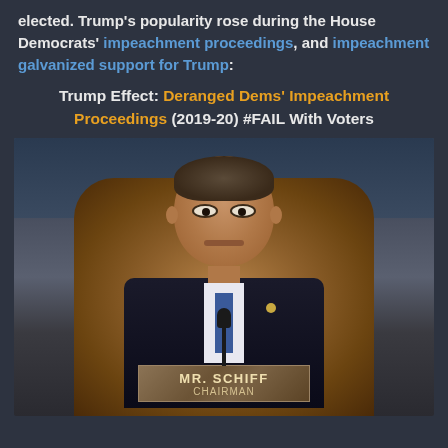elected. Trump's popularity rose during the House Democrats' impeachment proceedings, and impeachment galvanized support for Trump:
Trump Effect: Deranged Dems' Impeachment Proceedings (2019-20) #FAIL With Voters
[Figure (photo): Photo of a man in a dark suit sitting in a leather chair behind a nameplate reading 'MR. SCHIFF CHAIRMAN', with a microphone in front of him.]